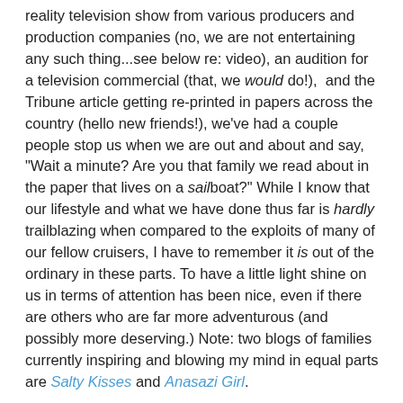reality television show from various producers and production companies (no, we are not entertaining any such thing...see below re: video), an audition for a television commercial (that, we would do!),  and the Tribune article getting re-printed in papers across the country (hello new friends!), we've had a couple people stop us when we are out and about and say, "Wait a minute? Are you that family we read about in the paper that lives on a sailboat?" While I know that our lifestyle and what we have done thus far is hardly trailblazing when compared to the exploits of many of our fellow cruisers, I have to remember it is out of the ordinary in these parts. To have a little light shine on us in terms of attention has been nice, even if there are others who are far more adventurous (and possibly more deserving.) Note: two blogs of families currently inspiring and blowing my mind in equal parts are Salty Kisses and Anasazi Girl.

In addition to the press, we're going to be on TV! We had the great honor to be featured in a short video clip by our friends Paul and Sheryl Shard of the Distant Shores television show for their upcoming television episode on Cruising with